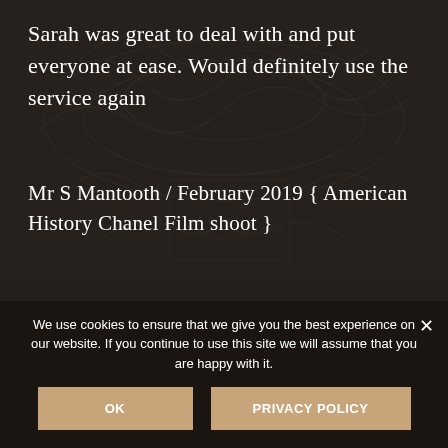[Figure (photo): Dark background with decorative carved stone or ornamental ceiling pattern, dimly lit interior visible]
Sarah was great to deal with and put everyone at ease. Would definitely use the service again
Mr S Mantooth / February 2019 { American History Chanel Film shoot }
Thank you for all your help, you made our
We use cookies to ensure that we give you the best experience on our website. If you continue to use this site we will assume that you are happy with it.